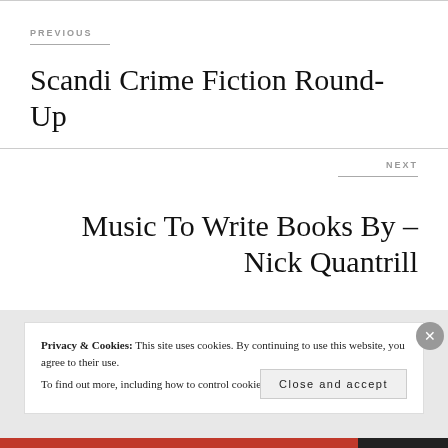PREVIOUS
Scandi Crime Fiction Round-Up
NEXT
Music To Write Books By – Nick Quantrill
Privacy & Cookies: This site uses cookies. By continuing to use this website, you agree to their use. To find out more, including how to control cookies, see here: Cookie Policy
Close and accept